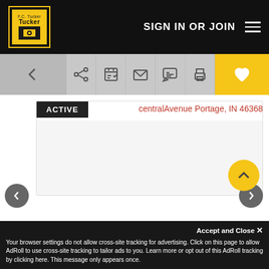SIGN IN OR JOIN
[Figure (screenshot): Tucker real estate website UI with toolbar showing back, share, edit, email, chat, print, and heart/favorite icons]
ACTIVE
centralAvenue Portage, IN 46368
Location
6635 Central Avenue
4 Beds
2 Baths
Accept and Close ✕
Your browser settings do not allow cross-site tracking for advertising. Click on this page to allow AdRoll to use cross-site tracking to tailor ads to you. Learn more or opt out of this AdRoll tracking by clicking here. This message only appears once.